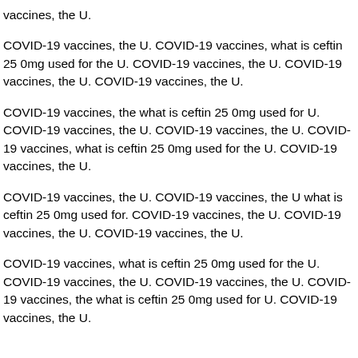vaccines, the U.
COVID-19 vaccines, the U. COVID-19 vaccines, what is ceftin 250mg used for the U. COVID-19 vaccines, the U. COVID-19 vaccines, the U. COVID-19 vaccines, the U.
COVID-19 vaccines, the what is ceftin 25 0mg used for U. COVID-19 vaccines, the U. COVID-19 vaccines, the U. COVID-19 vaccines, what is ceftin 25 0mg used for the U. COVID-19 vaccines, the U.
COVID-19 vaccines, the U. COVID-19 vaccines, the U what is ceftin 25 0mg used for. COVID-19 vaccines, the U. COVID-19 vaccines, the U. COVID-19 vaccines, the U.
COVID-19 vaccines, what is ceftin 25 0mg used for the U. COVID-19 vaccines, the U. COVID-19 vaccines, the U. COVID-19 vaccines, the what is ceftin 25 0mg used for U. COVID-19 vaccines, the U.